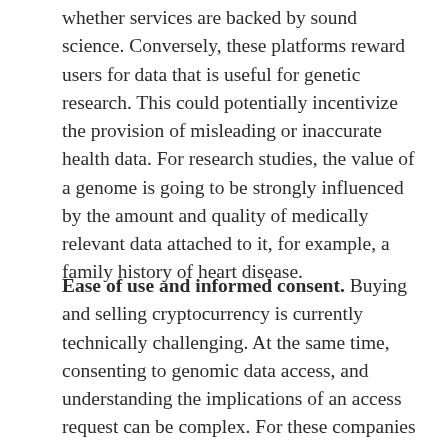whether services are backed by sound science. Conversely, these platforms reward users for data that is useful for genetic research. This could potentially incentivize the provision of misleading or inaccurate health data. For research studies, the value of a genome is going to be strongly influenced by the amount and quality of medically relevant data attached to it, for example, a family history of heart disease.
Ease of use and informed consent. Buying and selling cryptocurrency is currently technically challenging. At the same time, consenting to genomic data access, and understanding the implications of an access request can be complex. For these companies to succeed in giving people control of their DNA privacy, they will need to be very clear about what is actually being agreed to in a data request.